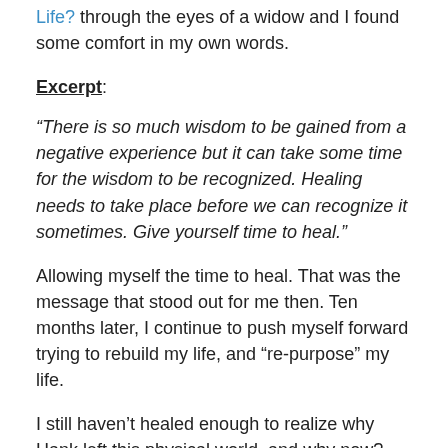Life? through the eyes of a widow and I found some comfort in my own words.
Excerpt:
“There is so much wisdom to be gained from a negative experience but it can take some time for the wisdom to be recognized. Healing needs to take place before we can recognize it sometimes. Give yourself time to heal.”
Allowing myself the time to heal. That was the message that stood out for me then. Ten months later, I continue to push myself forward trying to rebuild my life, and “re-purpose” my life.
I still haven’t healed enough to realize why Hank left this physical world, and why now? But I know I’m farther along in my journey than 10 months ago, learning, growing,